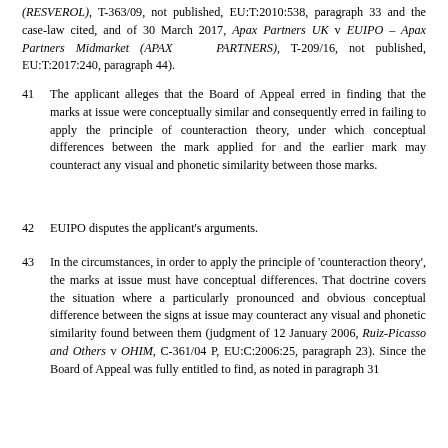(RESVEROL), T-363/09, not published, EU:T:2010:538, paragraph 33 and the case-law cited, and of 30 March 2017, Apax Partners UK v EUIPO – Apax Partners Midmarket (APAX PARTNERS), T-209/16, not published, EU:T:2017:240, paragraph 44).
41   The applicant alleges that the Board of Appeal erred in finding that the marks at issue were conceptually similar and consequently erred in failing to apply the principle of counteraction theory, under which conceptual differences between the mark applied for and the earlier mark may counteract any visual and phonetic similarity between those marks.
42   EUIPO disputes the applicant's arguments.
43   In the circumstances, in order to apply the principle of 'counteraction theory', the marks at issue must have conceptual differences. That doctrine covers the situation where a particularly pronounced and obvious conceptual difference between the signs at issue may counteract any visual and phonetic similarity found between them (judgment of 12 January 2006, Ruiz-Picasso and Others v OHIM, C-361/04 P, EU:C:2006:25, paragraph 23). Since the Board of Appeal was fully entitled to find, as noted in paragraph 31 above, that the marks at issue were conceptually similar, the t